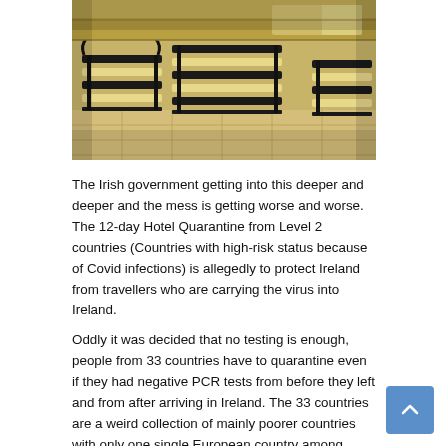[Figure (photo): Sepia-toned photo of airport terminal seating — rows of black metal chairs with striped cushions on a tiled floor, shot at an angle.]
The Irish government getting into this deeper and deeper and the mess is getting worse and worse. The 12-day Hotel Quarantine from Level 2 countries (Countries with high-risk status because of Covid infections) is allegedly to protect Ireland from travellers who are carrying the virus into Ireland.
Oddly it was decided that no testing is enough, people from 33 countries have to quarantine even if they had negative PCR tests from before they left and from after arriving in Ireland. The 33 countries are a weird collection of mainly poorer countries with only one single European country among them. Austria seemed to get little love from the Irish Department of Foreign Affairs, because they found themselves on this strange